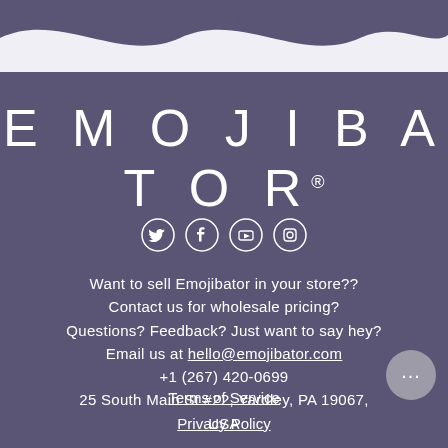[Figure (illustration): Wave-shaped decorative header on purple background with faint watermark text]
EMOJIBATOR®
[Figure (infographic): Row of four social media icons: Twitter, Facebook, YouTube, Instagram — all white outlines on purple background]
Want to sell Emojibator in your store??
Contact us for wholesale pricing?
Questions? Feedback? Just want to say hey?
Email us at hello@emojibator.com
+1 (267) 420-0699
25 South Main St #22, Yardley, PA 19067, USA
Terms of Service
Privacy Policy